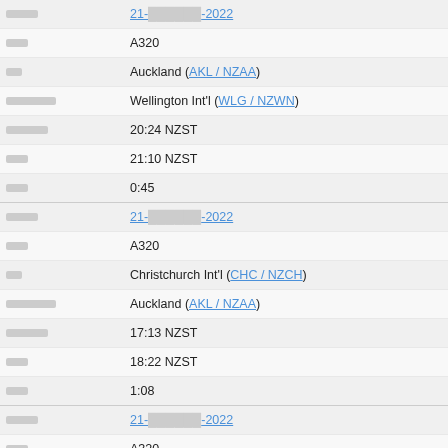| [label] | 21-[redacted]-2022 |
| [label] | A320 |
| [label] | Auckland (AKL / NZAA) |
| [label] | Wellington Int'l (WLG / NZWN) |
| [label] | 20:24 NZST |
| [label] | 21:10 NZST |
| [label] | 0:45 |
| [label] | 21-[redacted]-2022 |
| [label] | A320 |
| [label] | Christchurch Int'l (CHC / NZCH) |
| [label] | Auckland (AKL / NZAA) |
| [label] | 17:13 NZST |
| [label] | 18:22 NZST |
| [label] | 1:08 |
| [label] | 21-[redacted]-2022 |
| [label] | A320 |
| [label] | Auckland (AKL / NZAA) |
| [label] | Christchurch Int'l (CHC / NZCH) |
| [label] | 15:15 NZST |
| [label] | 16:17 NZST |